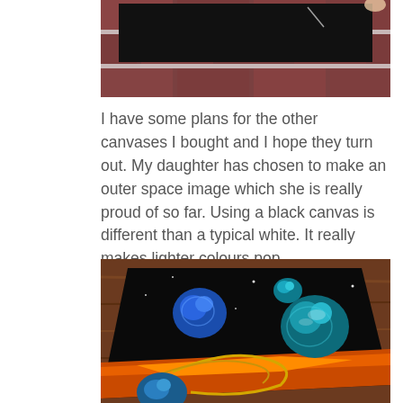[Figure (photo): Top portion of a black canvas resting against a brick wall background]
I have some plans for the other canvases I bought and I hope they turn out. My daughter has chosen to make an outer space image which she is really proud of so far. Using a black canvas is different than a typical white. It really makes lighter colours pop.
[Figure (photo): Close-up photo of a black canvas painting depicting an outer space scene with colorful planets (blue, teal) and a fiery/lava landscape at the bottom with gold and orange tones, on a wooden surface]